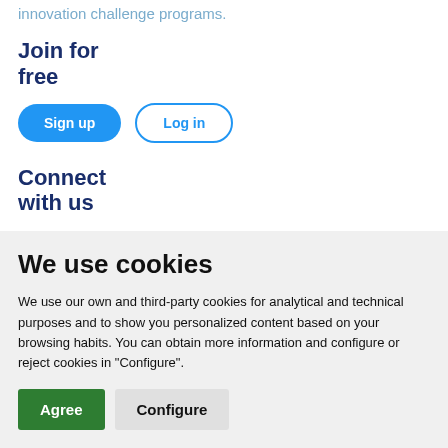innovation challenge programs.
Join for free
Sign up  Log in
Connect with us
We use cookies
We use our own and third-party cookies for analytical and technical purposes and to show you personalized content based on your browsing habits. You can obtain more information and configure or reject cookies in "Configure".
Agree  Configure